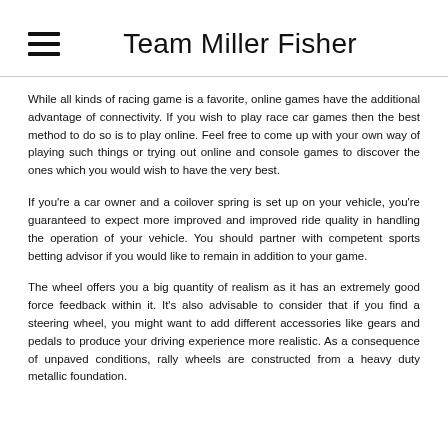Team Miller Fisher
While all kinds of racing game is a favorite, online games have the additional advantage of connectivity. If you wish to play race car games then the best method to do so is to play online. Feel free to come up with your own way of playing such things or trying out online and console games to discover the ones which you would wish to have the very best.
If you're a car owner and a coilover spring is set up on your vehicle, you're guaranteed to expect more improved and improved ride quality in handling the operation of your vehicle. You should partner with competent sports betting advisor if you would like to remain in addition to your game.
The wheel offers you a big quantity of realism as it has an extremely good force feedback within it. It's also advisable to consider that if you find a steering wheel, you might want to add different accessories like gears and pedals to produce your driving experience more realistic. As a consequence of unpaved conditions, rally wheels are constructed from a heavy duty metallic foundation.